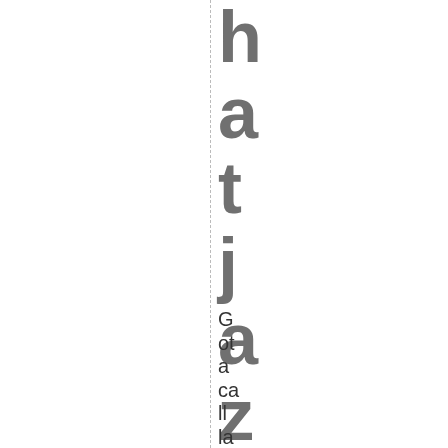hatjazz
Got a call last night to be